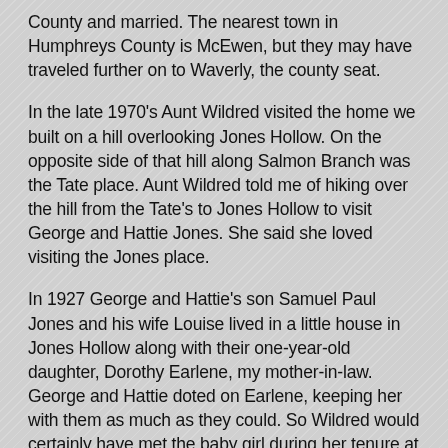County and married. The nearest town in Humphreys County is McEwen, but they may have traveled further on to Waverly, the county seat.
In the late 1970's Aunt Wildred visited the home we built on a hill overlooking Jones Hollow. On the opposite side of that hill along Salmon Branch was the Tate place. Aunt Wildred told me of hiking over the hill from the Tate's to Jones Hollow to visit George and Hattie Jones. She said she loved visiting the Jones place.
In 1927 George and Hattie's son Samuel Paul Jones and his wife Louise lived in a little house in Jones Hollow along with their one-year-old daughter, Dorothy Earlene, my mother-in-law. George and Hattie doted on Earlene, keeping her with them as much as they could. So Wildred would certainly have met the baby girl during her tenure at Spring Valley